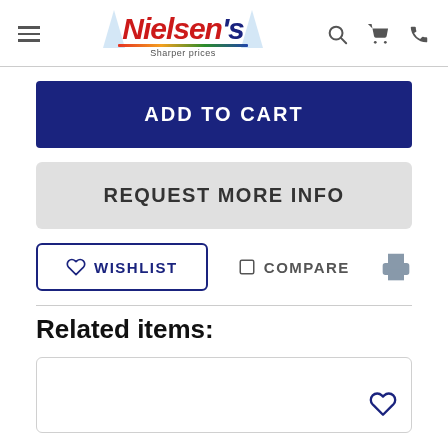Nielsen's - Sharper prices
ADD TO CART
REQUEST MORE INFO
WISHLIST
COMPARE
Related items: